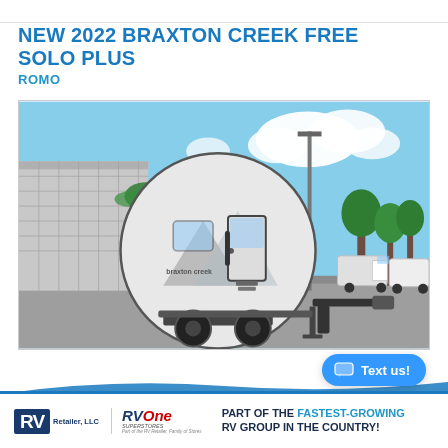NEW 2022 BRAXTON CREEK FREE SOLO PLUS
ROMO
[Figure (photo): Exterior photo of a 2022 Braxton Creek Free Solo Plus teardrop-style travel trailer, white with mountain graphic design, parked in a lot with blue sky and clouds in the background. Other RVs visible in the background to the right.]
RV Retailer, LLC | RV One Superstores | PART OF THE FASTEST-GROWING RV GROUP IN THE COUNTRY!